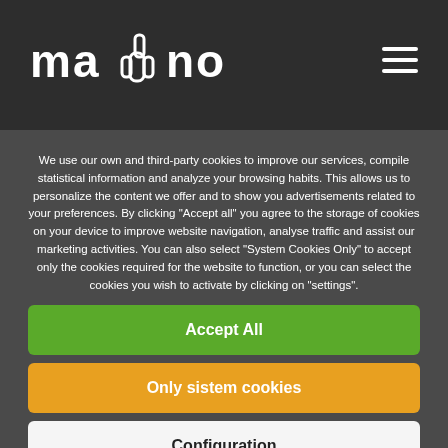mano logo with hamburger menu
We use our own and third-party cookies to improve our services, compile statistical information and analyze your browsing habits. This allows us to personalize the content we offer and to show you advertisements related to your preferences. By clicking "Accept all" you agree to the storage of cookies on your device to improve website navigation, analyse traffic and assist our marketing activities. You can also select "System Cookies Only" to accept only the cookies required for the website to function, or you can select the cookies you wish to activate by clicking on "settings".
Accept All
Only sistem cookies
Configuration